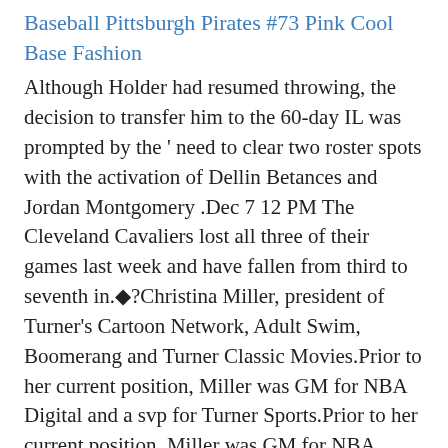Baseball Pittsburgh Pirates #73 Pink Cool Base Fashion
Although Holder had resumed throwing, the decision to transfer him to the 60-day IL was prompted by the ' need to clear two roster spots with the activation of Dellin Betances and Jordan Montgomery .Dec 7 12 PM The Cleveland Cavaliers lost all three of their games last week and have fallen from third to seventh in.◆?Christina Miller, president of Turner's Cartoon Network, Adult Swim, Boomerang and Turner Classic Movies.Prior to her current position, Miller was GM for NBA Digital and a svp for Turner Sports.Prior to her current position, Miller was GM for NBA Digital and a svp for Turner Sports.We